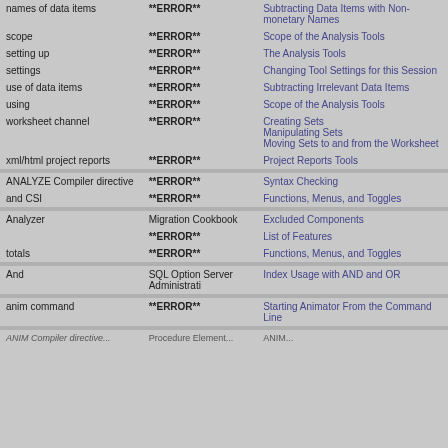| Term | Reference | Section |
| --- | --- | --- |
| names of data items | **ERROR** | Subtracting Data Items with Non-monetary Names |
| scope | **ERROR** | Scope of the Analysis Tools |
| setting up | **ERROR** | The Analysis Tools |
| settings | **ERROR** | Changing Tool Settings for this Session |
| use of data items | **ERROR** | Subtracting Irrelevant Data Items |
| using | **ERROR** | Scope of the Analysis Tools |
| worksheet channel | **ERROR** | Creating Sets
Manipulating Sets
Moving Sets to and from the Worksheet |
| xml/html project reports | **ERROR** | Project Reports Tools |
| ANALYZE Compiler directive | **ERROR** | Syntax Checking |
| and CSI | **ERROR** | Functions, Menus, and Toggles |
| Analyzer | Migration Cookbook
**ERROR** | Excluded Components
List of Features |
| totals | **ERROR** | Functions, Menus, and Toggles |
| And | SQL Option Server Administrati | Index Usage with AND and OR |
| anim command | **ERROR** | Starting Animator From the Command Line |